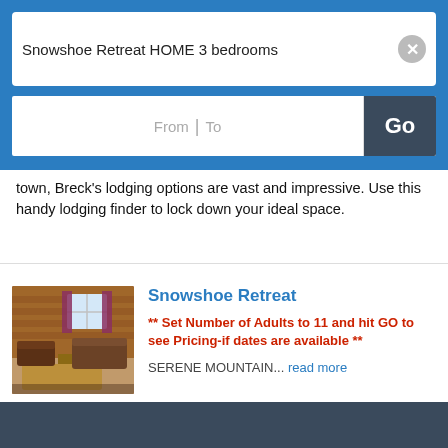Snowshoe Retreat HOME 3 bedrooms
From | To
town, Breck's lodging options are vast and impressive. Use this handy lodging finder to lock down your ideal space.
Snowshoe Retreat
** Set Number of Adults to 11 and hit GO to see Pricing-if dates are available **
SERENE MOUNTAIN... read more
[Figure (photo): Interior photo of a rustic log cabin living room with wooden walls, furniture including armchairs and a couch, and a window.]